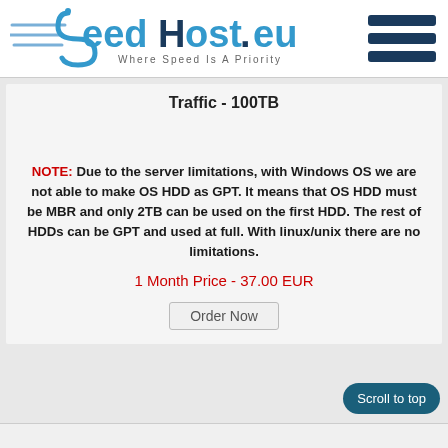[Figure (logo): SeedHost.eu logo with tagline 'Where Speed Is A Priority' and speed lines graphic]
Traffic - 100TB
NOTE: Due to the server limitations, with Windows OS we are not able to make OS HDD as GPT. It means that OS HDD must be MBR and only 2TB can be used on the first HDD. The rest of HDDs can be GPT and used at full. With linux/unix there are no limitations.
1 Month Price - 37.00 EUR